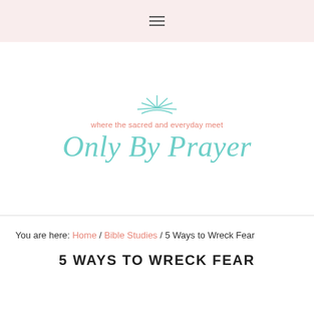≡
[Figure (logo): Only By Prayer logo — tagline 'where the sacred and everyday meet' in salmon/coral above large teal italic cursive text 'Only By Prayer' with a sun rays graphic above]
You are here: Home / Bible Studies / 5 Ways to Wreck Fear
5 WAYS TO WRECK FEAR